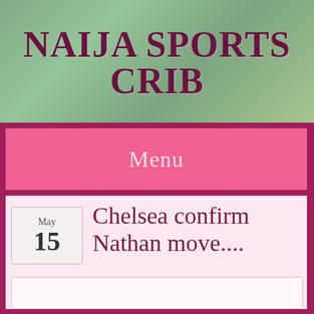NAIJA SPORTS CRIB
Menu
May 15
Chelsea confirm Nathan move....